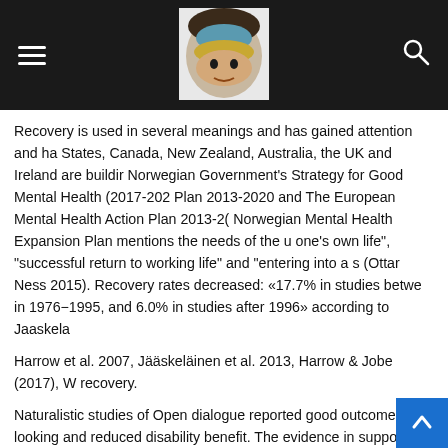Navigation header with hamburger menu, brain logo, and search icon
Recovery is used in several meanings and has gained attention and ha States, Canada, New Zealand, Australia, the UK and Ireland are buildir Norwegian Government's Strategy for Good Mental Health (2017-202 Plan 2013-2020 and The European Mental Health Action Plan 2013-2( Norwegian Mental Health Expansion Plan mentions the needs of the u one's own life", "successful return to working life" and "entering into a s (Ottar Ness 2015). Recovery rates decreased: «17.7% in studies betwe in 1976−1995, and 6.0% in studies after 1996» according to Jaaskela
Harrow et al. 2007, Jääskeläinen et al. 2013, Harrow & Jobe (2017), W recovery.
Naturalistic studies of Open dialogue reported good outcomes looking and reduced disability benefit. The evidence in support of OD has beer randomized controlled trials are required to draw further conclusions.
Falsification of Treatment as usual